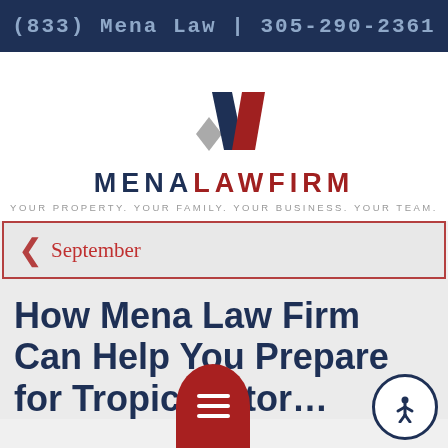(833) Mena Law | 305-290-2361
[Figure (logo): Mena Law Firm logo with geometric M shape in blue, red and gray, followed by text MENALAWFIRM and tagline YOUR PROPERTY. YOUR FAMILY. YOUR BUSINESS. YOUR TEAM.]
September
How Mena Law Firm Can Help You Prepare for Tropical Stor…